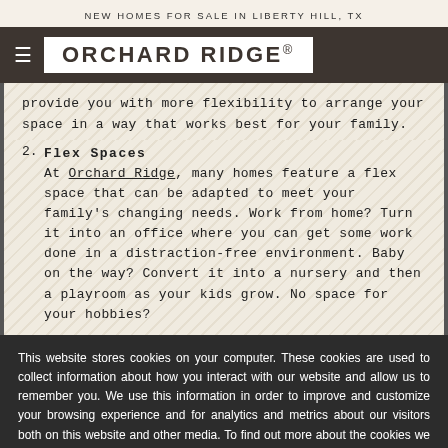NEW HOMES FOR SALE IN LIBERTY HILL, TX
[Figure (logo): Orchard Ridge logo: white box with dark brown border containing bold uppercase text ORCHARD RIDGE with registered trademark symbol, on dark brown navigation bar with hamburger menu icon]
provide you with more flexibility to arrange your space in a way that works best for your family.
2. Flex Spaces
At Orchard Ridge, many homes feature a flex space that can be adapted to meet your family's changing needs. Work from home? Turn it into an office where you can get some work done in a distraction-free environment. Baby on the way? Convert it into a nursery and then a playroom as your kids grow. No space for your hobbies?
This website stores cookies on your computer. These cookies are used to collect information about how you interact with our website and allow us to remember you. We use this information in order to improve and customize your browsing experience and for analytics and metrics about our visitors both on this website and other media. To find out more about the cookies we use, see our Privacy Policy.